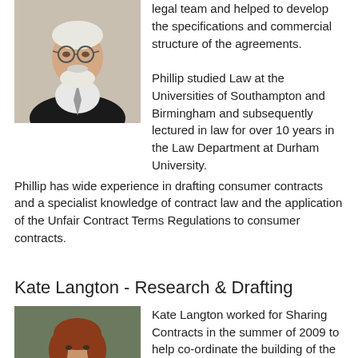[Figure (photo): Portrait photo of an older man with white hair and beard, wearing glasses and a dark suit with tie]
legal team and helped to develop the specifications and commercial structure of the agreements.

Phillip studied Law at the Universities of Southampton and Birmingham and subsequently lectured in law for over 10 years in the Law Department at Durham University. Phillip has wide experience in drafting consumer contracts and a specialist knowledge of contract law and the application of the Unfair Contract Terms Regulations to consumer contracts.
Kate Langton - Research & Drafting
[Figure (photo): Portrait photo of a woman with reddish-brown hair]
Kate Langton worked for Sharing Contracts in the summer of 2009 to help co-ordinate the building of the original Sharing Contracts website